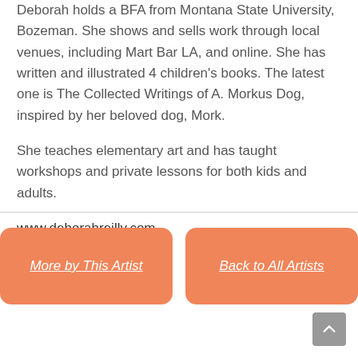Deborah holds a BFA from Montana State University, Bozeman. She shows and sells work through local venues, including Mart Bar LA, and online. She has written and illustrated 4 children's books. The latest one is The Collected Writings of A. Morkus Dog, inspired by her beloved dog, Mork.

She teaches elementary art and has taught workshops and private lessons for both kids and adults.

www.deborahreilly.com
More by This Artist
Back to All Artists